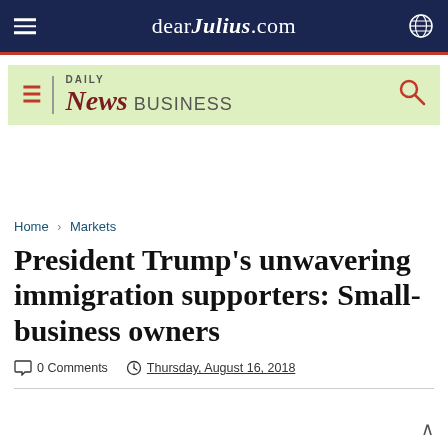dearJulius.com
[Figure (logo): Daily News Business logo bar with hamburger menu and search icon on light green background]
Home > Markets
President Trump's unwavering immigration supporters: Small-business owners
0 Comments   Thursday, August 16, 2018